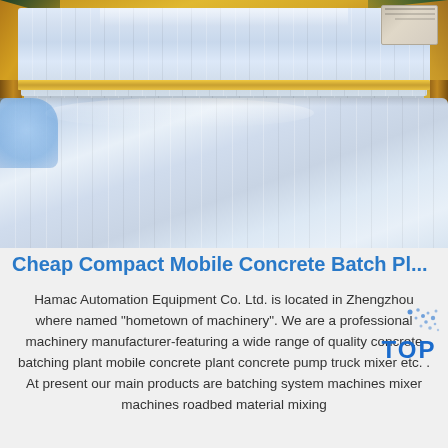[Figure (photo): Stacked metal/aluminum sheets with corrugated ribbed surface, wrapped in gold/brown paper packaging. A large single metal sheet in the foreground. Blue bubble wrap visible bottom-left. Industrial warehouse setting.]
Cheap Compact Mobile Concrete Batch Pl...
Hamac Automation Equipment Co. Ltd. is located in Zhengzhou where named "hometown of machinery". We are a professional machinery manufacturer-featuring a wide range of quality concrete batching plant mobile concrete plant concrete pump truck mixer etc. . At present our main products are batching system machines mixer machines roadbed material mixing